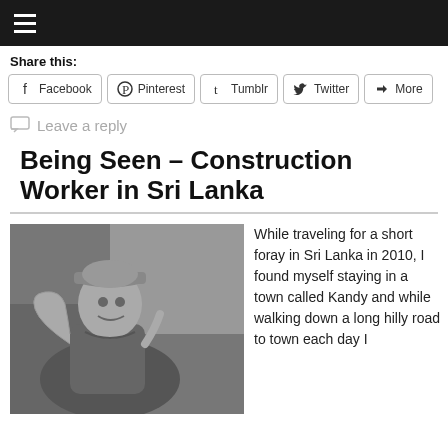≡ (navigation menu)
Share this:
Facebook | Pinterest | Tumblr | Twitter | More
Leave a reply
Being Seen – Construction Worker in Sri Lanka
[Figure (photo): Black and white photograph of a construction worker in Sri Lanka, wearing a cap and polo shirt, smiling and flexing his arm, with construction materials and a fabric in the background.]
While traveling for a short foray in Sri Lanka in 2010, I found myself staying in a town called Kandy and while walking down a long hilly road to town each day I